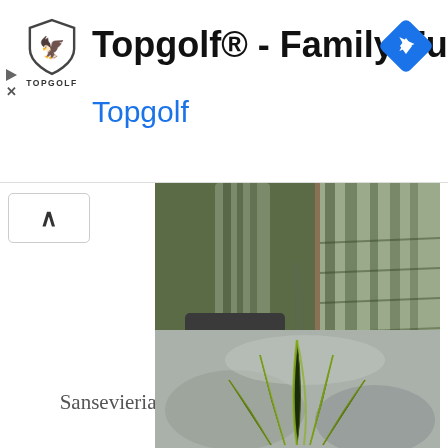[Figure (screenshot): Topgolf advertisement banner with Topgolf shield logo, bold title 'Topgolf® - Family Fun', blue subtitle 'Topgolf', and blue diamond navigation arrow icon on the right. Small play and X icons on the far left.]
[Figure (photo): Close-up photo of a snake plant (Sansevieria) with striped green and grey leaves in a pot, partially visible, cropped at top.]
Sansevieria Silver Hahnii  – Bird's Nest Snake Plant
[Figure (photo): Photo of a Sansevieria Silver Hahnii (Bird's Nest Snake Plant) showing a compact rosette of dark green leaves with yellow-green edges, on a blurred grey background.]